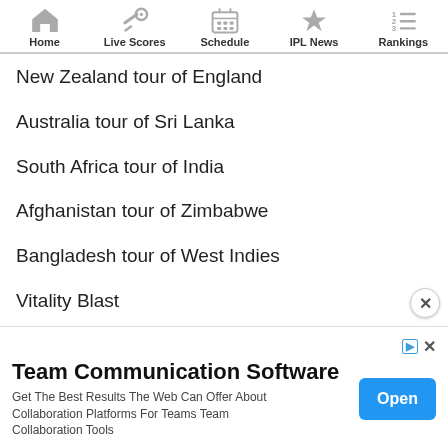Home | Live Scores | Schedule | IPL News | Rankings
New Zealand tour of England
Australia tour of Sri Lanka
South Africa tour of India
Afghanistan tour of Zimbabwe
Bangladesh tour of West Indies
Vitality Blast
ECS Czech Republic
[Figure (screenshot): Advertisement banner for Team Communication Software with an Open button]
Team Communication Software
Get The Best Results The Web Can Offer About Collaboration Platforms For Teams Team Collaboration Tools